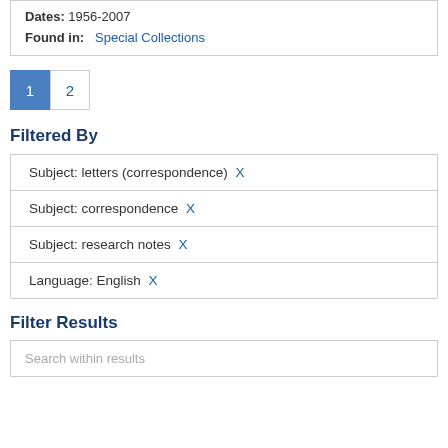Dates: 1956-2007
Found in: Special Collections
1  2
Filtered By
Subject: letters (correspondence) X
Subject: correspondence X
Subject: research notes X
Language: English X
Filter Results
Search within results